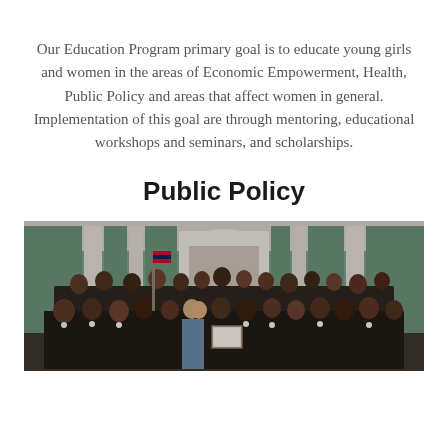Our Education Program primary goal is to educate young girls and women in the areas of Economic Empowerment, Health, Public Policy and areas that affect women in general. Implementation of this goal are through mentoring, educational workshops and seminars, and scholarships.
Public Policy
[Figure (photo): Group photo of approximately 30-40 people, mostly women dressed in dark/black clothing with white flower pins, standing together in what appears to be a formal hall or government building with green paneled walls and a white arched doorway in the background. One person is holding a framed document or certificate.]